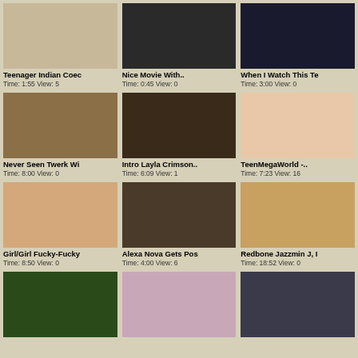[Figure (photo): Thumbnail 1 - Teenager Indian Coed]
Teenager Indian Coec
Time: 1:55 View: 5
[Figure (photo): Thumbnail 2 - Nice Movie With..]
Nice Movie With..
Time: 0:45 View: 0
[Figure (photo): Thumbnail 3 - When I Watch This Te]
When I Watch This Te
Time: 3:00 View: 0
[Figure (photo): Thumbnail 4 - Never Seen Twerk Wi]
Never Seen Twerk Wi
Time: 8:00 View: 0
[Figure (photo): Thumbnail 5 - Intro Layla Crimson..]
Intro Layla Crimson..
Time: 6:09 View: 1
[Figure (photo): Thumbnail 6 - TeenMegaWorld -..]
TeenMegaWorld -..
Time: 7:23 View: 16
[Figure (photo): Thumbnail 7 - Girl/Girl Fucky-Fucky]
Girl/Girl Fucky-Fucky
Time: 8:50 View: 0
[Figure (photo): Thumbnail 8 - Alexa Nova Gets Pos]
Alexa Nova Gets Pos
Time: 4:00 View: 6
[Figure (photo): Thumbnail 9 - Redbone Jazzmin J, I]
Redbone Jazzmin J, I
Time: 18:52 View: 0
[Figure (photo): Thumbnail 10 - row 4 left]
[Figure (photo): Thumbnail 11 - row 4 middle]
[Figure (photo): Thumbnail 12 - row 4 right]